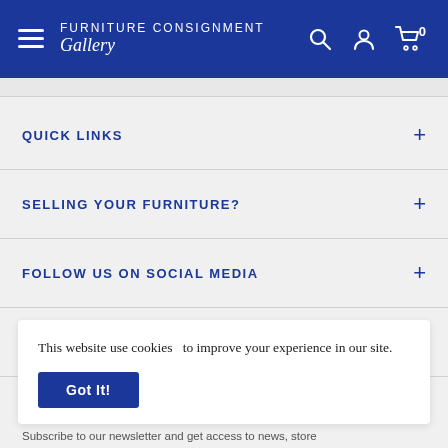Furniture Consignment Gallery
QUICK LINKS
SELLING YOUR FURNITURE?
FOLLOW US ON SOCIAL MEDIA
HAVE A QUESTION?
This website use cookies   to improve your experience in our site.
Subscribe to our newsletter and get access to news, store